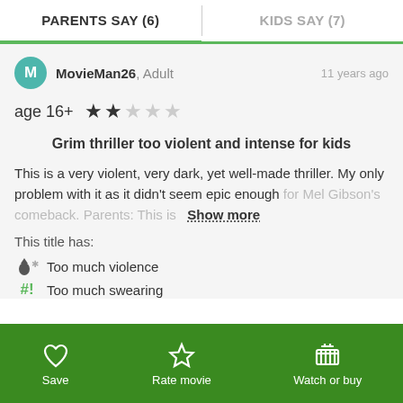PARENTS SAY (6)
KIDS SAY (7)
MovieMan26, Adult — 11 years ago
age 16+ ★★☆☆☆
Grim thriller too violent and intense for kids
This is a very violent, very dark, yet well-made thriller. My only problem with it as it didn't seem epic enough for Mel Gibson's comeback. Parents: This is  Show more
This title has:
Too much violence
Too much swearing
Save  Rate movie  Watch or buy